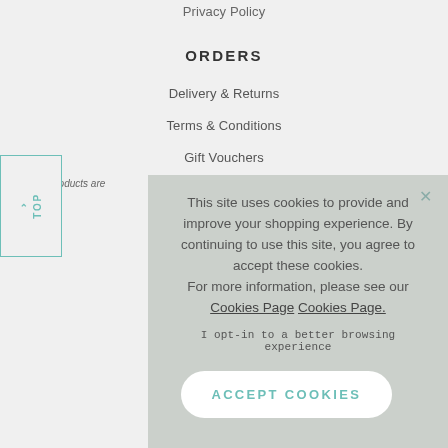Privacy Policy
ORDERS
Delivery & Returns
Terms & Conditions
Gift Vouchers
* Certain products are
This site uses cookies to provide and improve your shopping experience. By continuing to use this site, you agree to accept these cookies. For more information, please see our Cookies Page Cookies Page.
I opt-in to a better browsing experience
ACCEPT COOKIES